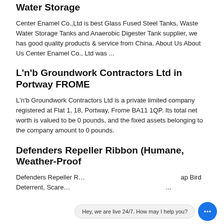Water Storage
Center Enamel Co.,Ltd is best Glass Fused Steel Tanks, Waste Water Storage Tanks and Anaerobic Digester Tank supplier, we has good quality products & service from China. About Us About Us Center Enamel Co., Ltd was ...
L'n'b Groundwork Contractors Ltd in Portway FROME
L'n'b Groundwork Contractors Ltd is a private limited company registered at Flat 1, 18, Portway, Frome BA11 1QP. Its total net worth is valued to be 0 pounds, and the fixed assets belonging to the company amount to 0 pounds.
Defenders Repeller Ribbon (Humane, Weather-Proof
Defenders Repeller R... ap Bird Deterrent, Scare... ...